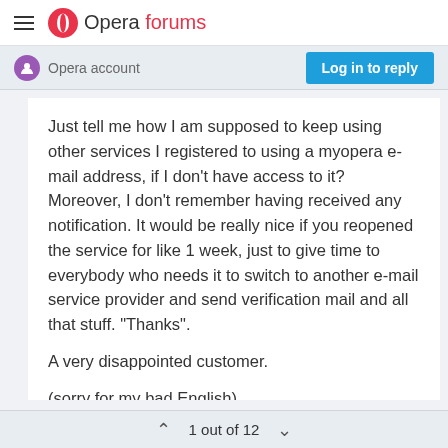Opera forums
Opera account
Log in to reply
Just tell me how I am supposed to keep using other services I registered to using a myopera e-mail address, if I don't have access to it? Moreover, I don't remember having received any notification. It would be really nice if you reopened the service for like 1 week, just to give time to everybody who needs it to switch to another e-mail service provider and send verification mail and all that stuff. "Thanks".

A very disappointed customer.

(sorry for my bad English)
1 out of 12